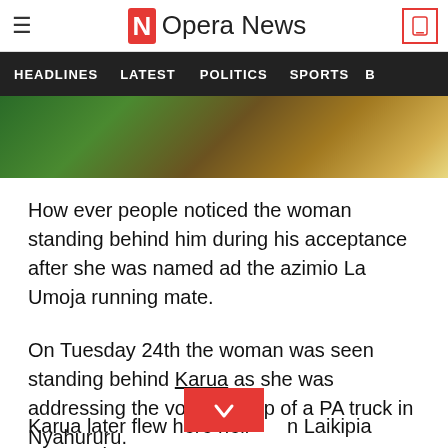Opera News
HEADLINES  LATEST  POLITICS  SPORTS
[Figure (photo): Partial photo showing people in green clothing, cropped at the top of the content area]
How ever people noticed the woman standing behind him during his acceptance after she was named ad the azimio La Umoja running mate.
On Tuesday 24th the woman was seen standing behind Karua as she was addressing the voters at top of a PA truck in Nyahururu.
Karua later flew here helic... Laikipia County the